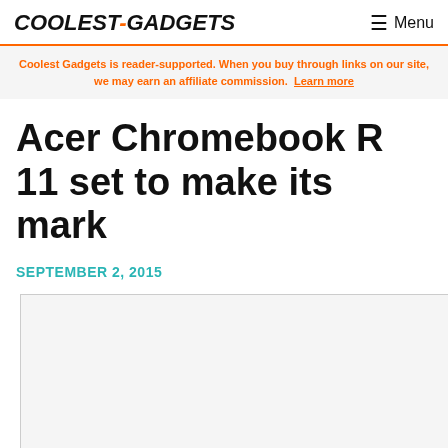COOLEST-GADGETS  Menu
Coolest Gadgets is reader-supported. When you buy through links on our site, we may earn an affiliate commission. Learn more
Acer Chromebook R 11 set to make its mark
SEPTEMBER 2, 2015
[Figure (other): Blank image placeholder / advertisement area]